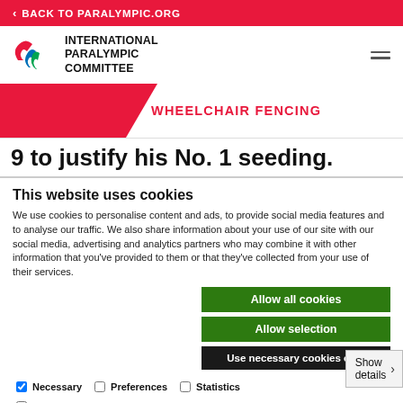< BACK TO PARALYMPIC.ORG
[Figure (logo): International Paralympic Committee logo with agitos symbol and text INTERNATIONAL PARALYMPIC COMMITTEE]
WHEELCHAIR FENCING
9 to justify his No. 1 seeding.
This website uses cookies
We use cookies to personalise content and ads, to provide social media features and to analyse our traffic. We also share information about your use of our site with our social media, advertising and analytics partners who may combine it with other information that you've provided to them or that they've collected from your use of their services.
Allow all cookies
Allow selection
Use necessary cookies only
Necessary   Preferences   Statistics   Show details   Marketing
His defence was superb, consiste...